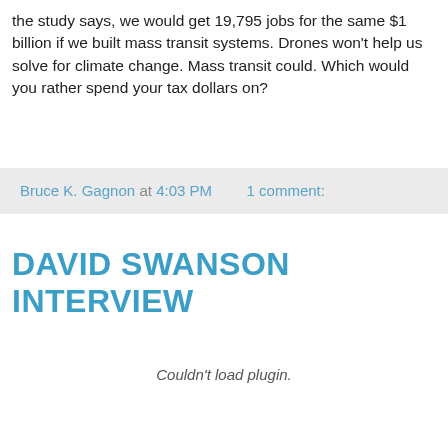the study says, we would get 19,795 jobs for the same $1 billion if we built mass transit systems. Drones won't help us solve for climate change. Mass transit could. Which would you rather spend your tax dollars on?
Bruce K. Gagnon at 4:03 PM   1 comment:
DAVID SWANSON INTERVIEW
Couldn't load plugin.